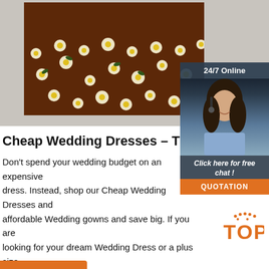[Figure (photo): Close-up photo of a brown floral fabric dress with yellow and white daisy pattern, showing neckline area, against a light gray background]
[Figure (infographic): 24/7 Online chat widget showing a female customer service agent wearing a headset, with 'Click here for free chat!' text and an orange QUOTATION button]
Cheap Wedding Dresses – The D...
Don't spend your wedding budget on an expensive dress. Instead, shop our Cheap Wedding Dresses and affordable Wedding gowns and save big. If you are looking for your dream Wedding Dress or a plus size Wedding Dresses or you just need a...
[Figure (logo): TOP badge in orange with decorative dots above]